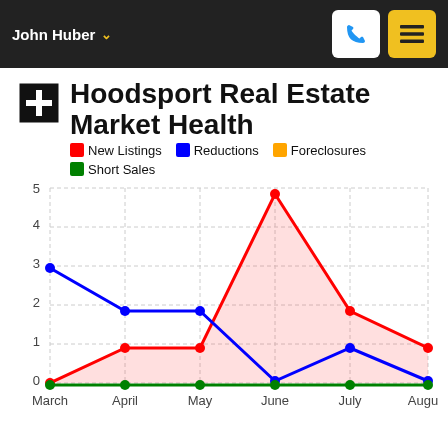John Huber
Hoodsport Real Estate Market Health
[Figure (line-chart): Hoodsport Real Estate Market Health]